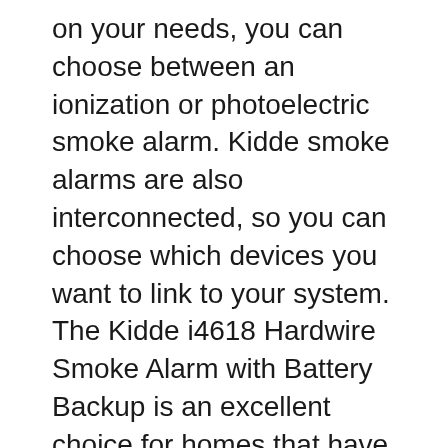on your needs, you can choose between an ionization or photoelectric smoke alarm. Kidde smoke alarms are also interconnected, so you can choose which devices you want to link to your system. The Kidde i4618 Hardwire Smoke Alarm with Battery Backup is an excellent choice for homes that have multiple smoke detectors.
You should immediately delete any files that you have accidentally put into your Kidde smoke alarm. You could endanger your device by storing the files. If your smoke alarm continues to beep, check the batteries every seven to ten years. The processor will detect false conditions and will adjust itself when the battery is reinserted. If it does not, you will need to reset the alarm by